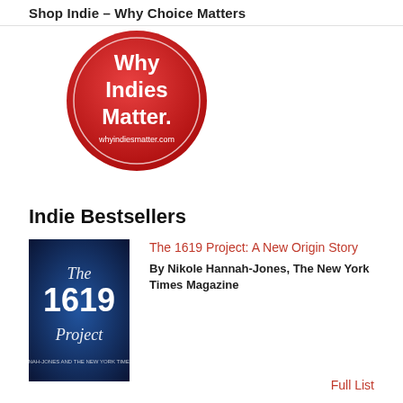Shop Indie – Why Choice Matters
[Figure (logo): Red circular badge with white text reading 'Why Indies Matter.' and website URL whyindiesmatter.com]
Indie Bestsellers
[Figure (photo): Book cover of The 1619 Project with dark blue background and large white text]
The 1619 Project: A New Origin Story
By Nikole Hannah-Jones, The New York Times Magazine
Full List